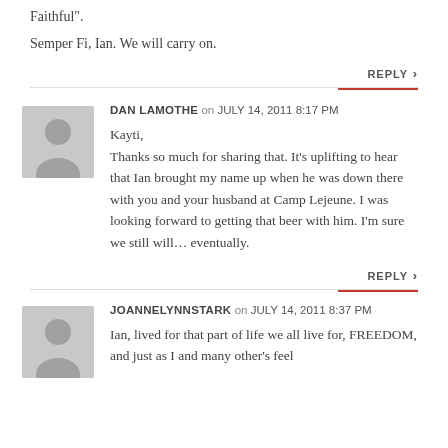Faithful".
Semper Fi, Ian. We will carry on.
REPLY
DAN LAMOTHE on JULY 14, 2011 8:17 PM
Kayti,
Thanks so much for sharing that. It’s uplifting to hear that Ian brought my name up when he was down there with you and your husband at Camp Lejeune. I was looking forward to getting that beer with him. I’m sure we still will… eventually.
REPLY
JOANNELYNNSTARK on JULY 14, 2011 8:37 PM
Ian, lived for that part of life we all live for, FREEDOM, and just as I and many other's feel